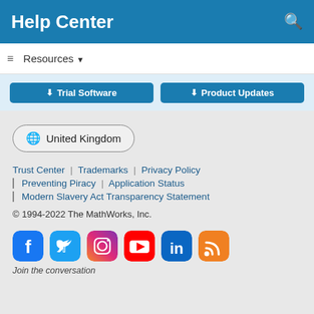Help Center
Resources ▾
[Figure (screenshot): Two blue download buttons: 'Trial Software' and 'Product Updates']
🌐 United Kingdom
Trust Center | Trademarks | Privacy Policy | Preventing Piracy | Application Status | Modern Slavery Act Transparency Statement
© 1994-2022 The MathWorks, Inc.
[Figure (infographic): Social media icons: Facebook, Twitter, Instagram, YouTube, LinkedIn, RSS]
Join the conversation